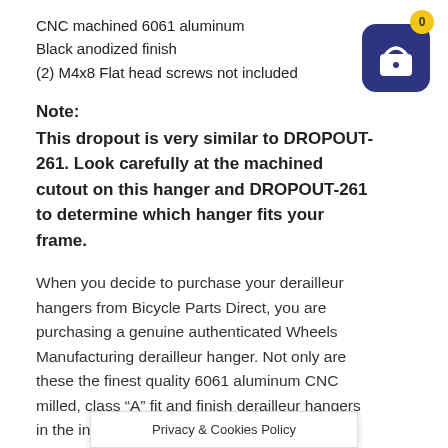CNC machined 6061 aluminum
Black anodized finish
(2) M4x8 Flat head screws not included
[Figure (illustration): Shopping cart icon with yellow badge showing 0, dark blue rounded square background]
Note:
This dropout is very similar to DROPOUT-261. Look carefully at the machined cutout on this hanger and DROPOUT-261 to determine which hanger fits your frame.
When you decide to purchase your derailleur hangers from Bicycle Parts Direct, you are purchasing a genuine authenticated Wheels Manufacturing derailleur hanger. Not only are these the finest quality 6061 aluminum CNC milled, class “A” fit and finish derailleur hangers in the indus…e by the finest
Privacy & Cookies Policy